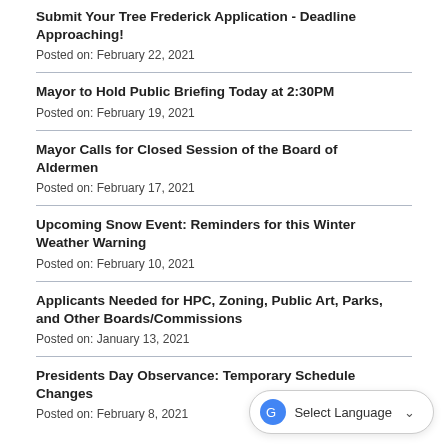Submit Your Tree Frederick Application - Deadline Approaching!
Posted on: February 22, 2021
Mayor to Hold Public Briefing Today at 2:30PM
Posted on: February 19, 2021
Mayor Calls for Closed Session of the Board of Aldermen
Posted on: February 17, 2021
Upcoming Snow Event: Reminders for this Winter Weather Warning
Posted on: February 10, 2021
Applicants Needed for HPC, Zoning, Public Art, Parks, and Other Boards/Commissions
Posted on: January 13, 2021
Presidents Day Observance: Temporary Schedule Changes
Posted on: February 8, 2021